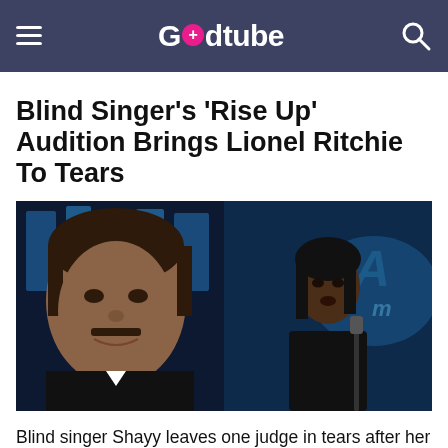Godtube
Blind Singer's 'Rise Up' Audition Brings Lionel Ritchie To Tears
[Figure (photo): Side-by-side photo: left shows Lionel Richie (judge) looking emotional in front of the American Idol backdrop; right shows blind singer Shayy holding a white cane, standing in front of the American Idol logo backdrop]
Blind singer Shayy leaves one judge in tears after her powerful performance of Andra Day's 'Rise Up' on American Idol. It has only been one year since this high school student started to complain of